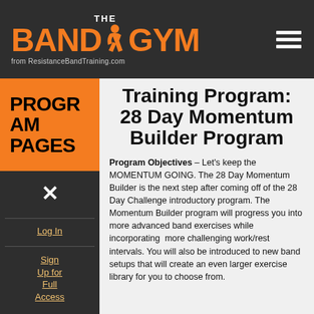[Figure (logo): The Band Gym logo with orange text and runner icon, from ResistanceBandTraining.com, on dark background with hamburger menu icon]
Training Program: 28 Day Momentum Builder Program
PROGRAM PAGES
×
Log In
Sign Up for Full Access
Program Objectives – Let's keep the MOMENTUM GOING. The 28 Day Momentum Builder is the next step after coming off of the 28 Day Challenge introductory program. The Momentum Builder program will progress you into more advanced band exercises while incorporating more challenging work/rest intervals. You will also be introduced to new band setups that will create an even larger exercise library for you to choose from.